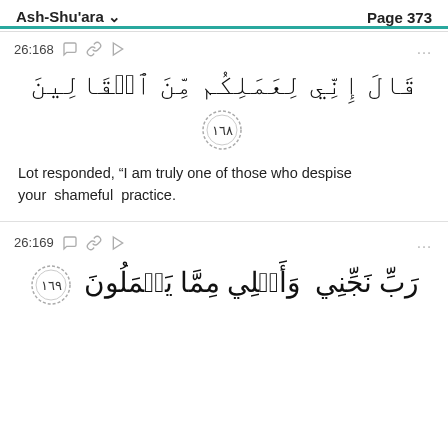Ash-Shu'ara   Page 373
26:168
[Figure (other): Arabic Quran verse 26:168 with verse number badge 168 in decorative circle]
Lot responded, “I am truly one of those who despise your shameful practice.
26:169
[Figure (other): Arabic Quran verse 26:169 with verse number badge 169 in decorative circle, partial view]